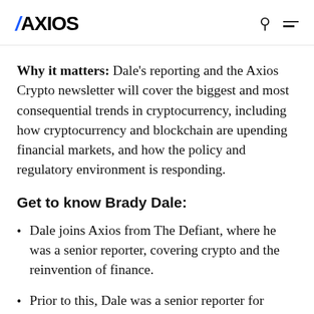AXIOS
Why it matters: Dale's reporting and the Axios Crypto newsletter will cover the biggest and most consequential trends in cryptocurrency, including how cryptocurrency and blockchain are upending financial markets, and how the policy and regulatory environment is responding.
Get to know Brady Dale:
Dale joins Axios from The Defiant, where he was a senior reporter, covering crypto and the reinvention of finance.
Prior to this, Dale was a senior reporter for